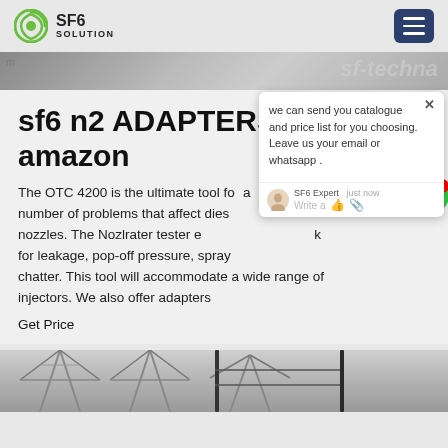SF6 SOLUTION
[Figure (screenshot): Website screenshot showing SF6 Solution logo, navigation hamburger menu, product image banner, product title 'sf6 n2 ADAPTERS tester amazon', product description text, Get Price link, and a live chat popup from SF6 Expert.]
sf6 n2 ADAPTERS tester amazon
The OTC 4200 is the ultimate tool for a number of problems that affect diesel nozzles. The Nozlrater tester enables you to check for leakage, pop-off pressure, spray pattern and chatter. This tool will accommodate a wide range of injectors. We also offer adapters
Get Price